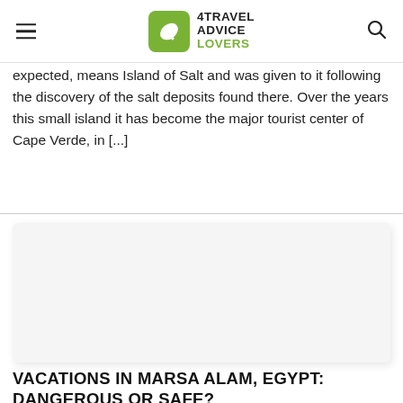4TRAVEL ADVICE LOVERS
expected, means Island of Salt and was given to it following the discovery of the salt deposits found there. Over the years this small island it has become the major tourist center of Cape Verde, in [...]
[Figure (photo): Article card image placeholder for Marsa Alam Egypt article]
VACATIONS IN MARSA ALAM, EGYPT: DANGEROUS OR SAFE?